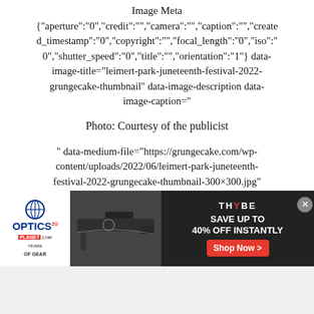Image Meta
{"aperture":"0","credit":"","camera":"","caption":"","created_timestamp":"0","copyright":"","focal_length":"0","iso":"0","shutter_speed":"0","title":"","orientation":"1"} data-image-title="leimert-park-juneteenth-festival-2022-grungecake-thumbnail" data-image-description data-image-caption="
Photo: Courtesy of the publicist
" data-medium-file="https://grungecake.com/wp-content/uploads/2022/06/leimert-park-juneteenth-festival-2022-grungecake-thumbnail-300×300.jpg" data-large-file="https://grungecake.com/wp-
[Figure (screenshot): Advertisement banner: Optics Planet 20 years logo on left, rifle/optics photo in center, Thrive logo with 'SAVE UP TO 40% OFF INSTANTLY' text and red 'Shop Now >' button on right, with close X button]